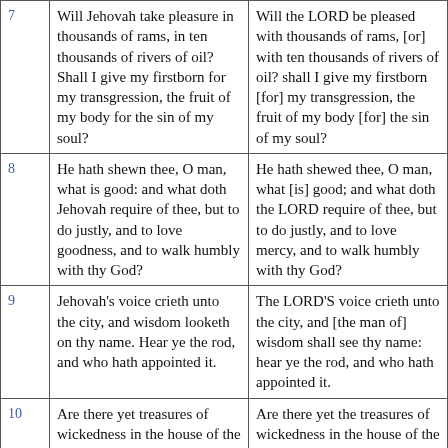| Verse | Translation A | Translation B |
| --- | --- | --- |
| 7 | Will Jehovah take pleasure in thousands of rams, in ten thousands of rivers of oil? Shall I give my firstborn for my transgression, the fruit of my body for the sin of my soul? | Will the LORD be pleased with thousands of rams, [or] with ten thousands of rivers of oil? shall I give my firstborn [for] my transgression, the fruit of my body [for] the sin of my soul? |
| 8 | He hath shewn thee, O man, what is good: and what doth Jehovah require of thee, but to do justly, and to love goodness, and to walk humbly with thy God? | He hath shewed thee, O man, what [is] good; and what doth the LORD require of thee, but to do justly, and to love mercy, and to walk humbly with thy God? |
| 9 | Jehovah's voice crieth unto the city, and wisdom looketh on thy name. Hear ye the rod, and who hath appointed it. | The LORD'S voice crieth unto the city, and [the man of] wisdom shall see thy name: hear ye the rod, and who hath appointed it. |
| 10 | Are there yet treasures of wickedness in the house of the wicked, and the scant measure [which is] | Are there yet the treasures of wickedness in the house of the wicked, and the scant measure [that is] |